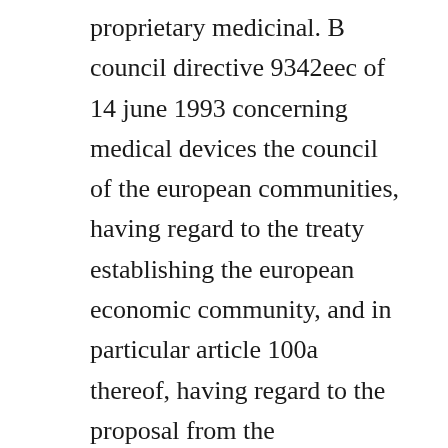proprietary medicinal. B council directive 9342eec of 14 june 1993 concerning medical devices the council of the european communities, having regard to the treaty establishing the european economic community, and in particular article 100a thereof, having regard to the proposal from the commission 1, in cooperation with the european parliament 2. In addition, manufacture shall mean any holder of the authorisation referred to in article 16 of directive 75319 eec. Council directive 6565eec of 26 january 1965 on the